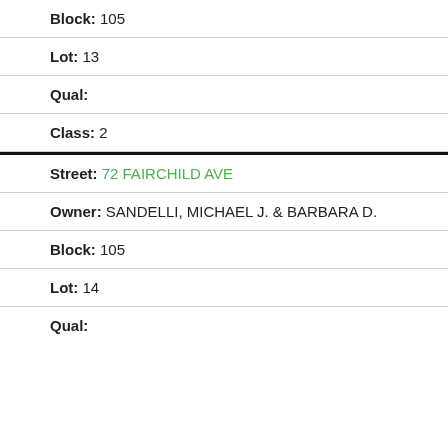Block: 105
Lot: 13
Qual:
Class: 2
Street: 72 FAIRCHILD AVE
Owner: SANDELLI, MICHAEL J. & BARBARA D.
Block: 105
Lot: 14
Qual: